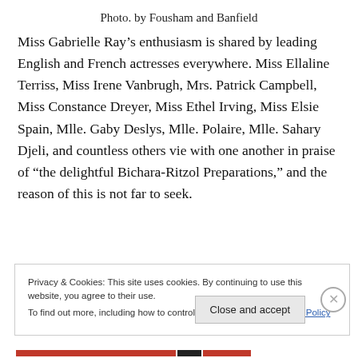Photo. by Fousham and Banfield
Miss Gabrielle Ray’s enthusiasm is shared by leading English and French actresses everywhere. Miss Ellaline Terriss, Miss Irene Vanbrugh, Mrs. Patrick Campbell, Miss Constance Dreyer, Miss Ethel Irving, Miss Elsie Spain, Mlle. Gaby Deslys, Mlle. Polaire, Mlle. Sahary Djeli, and countless others vie with one another in praise of “the delightful Bichara-Ritzol Preparations,” and the reason of this is not far to seek.
Privacy & Cookies: This site uses cookies. By continuing to use this website, you agree to their use.
To find out more, including how to control cookies, see here: Cookie Policy